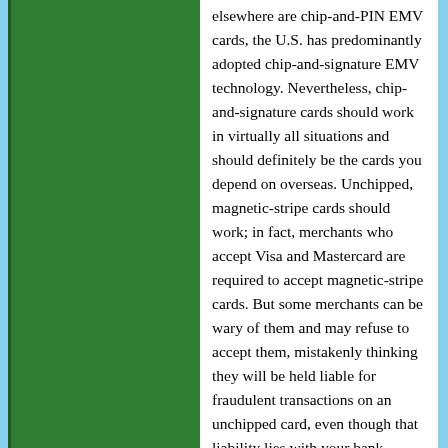elsewhere are chip-and-PIN EMV cards, the U.S. has predominantly adopted chip-and-signature EMV technology. Nevertheless, chip-and-signature cards should work in virtually all situations and should definitely be the cards you depend on overseas. Unchipped, magnetic-stripe cards should work; in fact, merchants who accept Visa and Mastercard are required to accept magnetic-stripe cards. But some merchants can be wary of them and may refuse to accept them, mistakenly thinking they will be held liable for fraudulent transactions on an unchipped card, even though that liability lies with your bank. Unattended service kiosks like those at train stations are also known to present problems for chipless cards, requiring travelers to seek out an attendant and potentially wait in long lines. Look for useful travel benefits